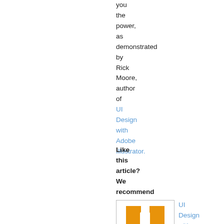you the power, as demonstrated by Rick Moore, author of UI Design with Adobe Illustrator.
Like this article? We recommend
[Figure (illustration): Book cover for UI Design with Adobe Illustrator showing orange UI letters and DESIGN text]
UI Design with Adobe Illustrator: Discover the ease and power of